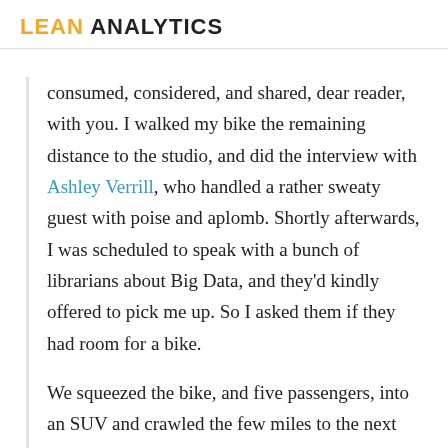LEAN ANALYTICS
consumed, considered, and shared, dear reader, with you. I walked my bike the remaining distance to the studio, and did the interview with Ashley Verrill, who handled a rather sweaty guest with poise and aplomb. Shortly afterwards, I was scheduled to speak with a bunch of librarians about Big Data, and they'd kindly offered to pick me up. So I asked them if they had room for a bike.
We squeezed the bike, and five passengers, into an SUV and crawled the few miles to the next venue. It was during this drive, shoehorned between seats and spokes, that I learned I was far from the first to consider getting bikes in each city I visited. No, David